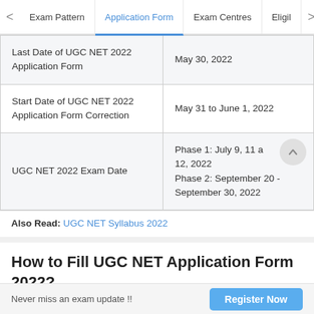Exam Pattern | Application Form | Exam Centres | Eligil
| Event | Date |
| --- | --- |
| Last Date of UGC NET 2022 Application Form | May 30, 2022 |
| Start Date of UGC NET 2022 Application Form Correction | May 31 to June 1, 2022 |
| UGC NET 2022 Exam Date | Phase 1: July 9, 11 and 12, 2022
Phase 2: September 20 - September 30, 2022 |
Also Read: UGC NET Syllabus 2022
How to Fill UGC NET Application Form 2022?
Never miss an exam update !!